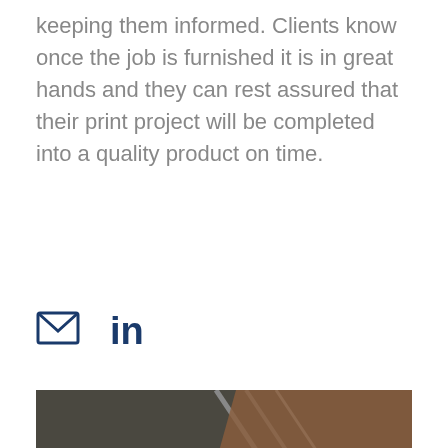keeping them informed. Clients know once the job is furnished it is in great hands and they can rest assured that their print project will be completed into a quality product on time.
[Figure (other): Email icon and LinkedIn icon displayed as social/contact links]
[Figure (photo): Portrait photo of a bald smiling man in a light blue shirt, photographed indoors near a modern staircase with wood and metal railings]